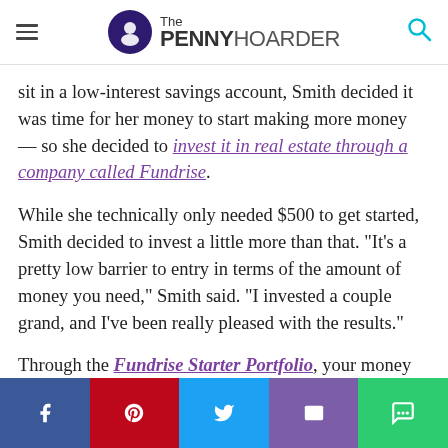The PENNY HOARDER
sit in a low-interest savings account, Smith decided it was time for her money to start making more money — so she decided to invest it in real estate through a company called Fundrise.
While she technically only needed $500 to get started, Smith decided to invest a little more than that. “It’s a pretty low barrier to entry in terms of the amount of money you need,” Smith said. “I invested a couple grand, and I’ve been really pleased with the results.”
Through the Fundrise Starter Portfolio, your money will be split into two portfolios that support private real estate around the United States.